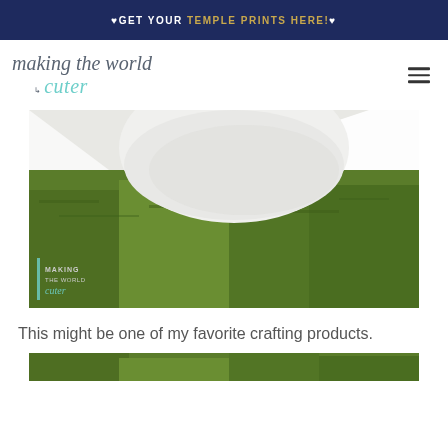♥GET YOUR TEMPLE PRINTS HERE!♥
making the world cuter
[Figure (photo): Close-up photo of green moss spread on a white surface with a white mortar or bowl partially visible, watermarked with 'MAKING THE WORLD cuter' logo in the bottom-left corner.]
This might be one of my favorite crafting products.
[Figure (photo): Bottom strip showing green moss texture, partially visible at the bottom of the page.]